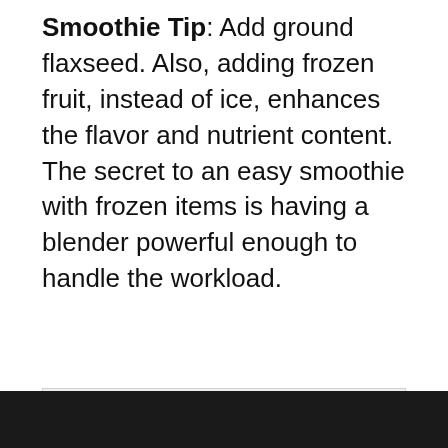Smoothie Tip: Add ground flaxseed. Also, adding frozen fruit, instead of ice, enhances the flavor and nutrient content. The secret to an easy smoothie with frozen items is having a blender powerful enough to handle the workload.
[Figure (photo): Large image placeholder with light gray background and border, likely a photo of a smoothie or blender]